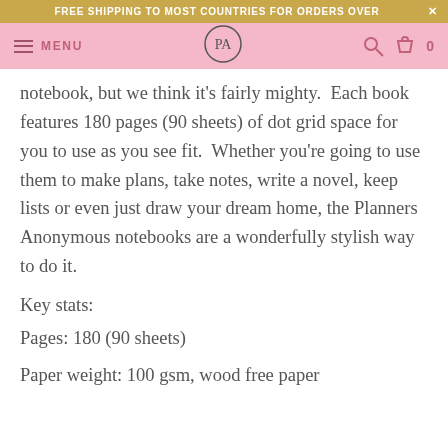FREE SHIPPING TO MOST COUNTRIES FOR ORDERS OVER ×
MENU | PA logo | search | cart 0
notebook, but we think it's fairly mighty.  Each book features 180 pages (90 sheets) of dot grid space for you to use as you see fit.  Whether you're going to use them to make plans, take notes, write a novel, keep lists or even just draw your dream home, the Planners Anonymous notebooks are a wonderfully stylish way to do it.
Key stats:
Pages: 180 (90 sheets)
Paper weight: 100 gsm, wood free paper